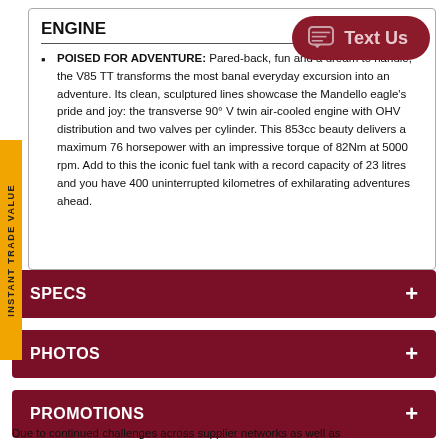ENGINE
POISED FOR ADVENTURE: Pared-back, fun and a dream to handle, the V85 TT transforms the most banal everyday excursion into an adventure. Its clean, sculptured lines showcase the Mandello eagle's pride and joy: the transverse 90° V twin air-cooled engine with OHV distribution and two valves per cylinder. This 853cc beauty delivers a maximum 76 horsepower with an impressive torque of 82Nm at 5000 rpm. Add to this the iconic fuel tank with a record capacity of 23 litres and you have 400 uninterrupted kilometres of exhilarating adventures ahead.
SPECS
PHOTOS
PROMOTIONS
Due to continued challenges across supplier networks as well as